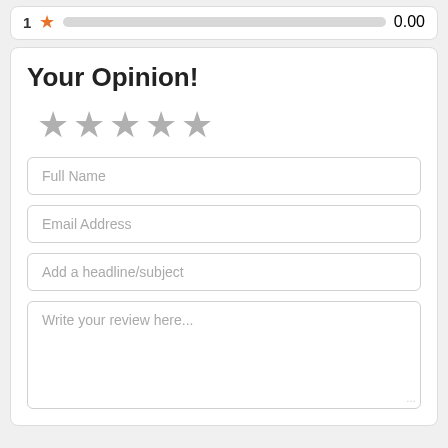[Figure (screenshot): Rating row showing '1', an orange star, a grey progress bar, and score '0.00']
Your Opinion!
[Figure (other): Five grey stars for rating input]
Full Name
Email Address
Add a headline/subject
Write your review here...